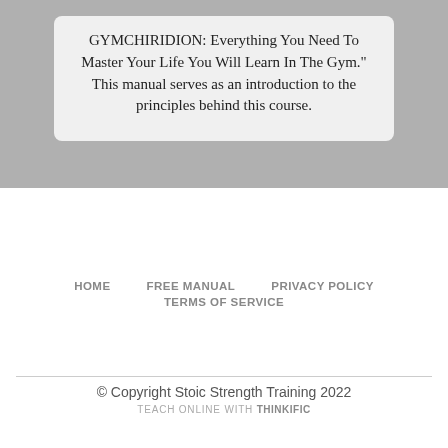GYMCHIRIDION: Everything You Need To Master Your Life You Will Learn In The Gym." This manual serves as an introduction to the principles behind this course.
HOME   FREE MANUAL   PRIVACY POLICY   TERMS OF SERVICE
© Copyright Stoic Strength Training 2022
TEACH ONLINE WITH THINKIFIC